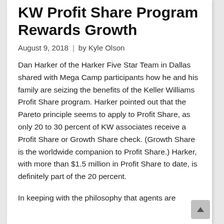KW Profit Share Program Rewards Growth
August 9, 2018  |  by Kyle Olson
Dan Harker of the Harker Five Star Team in Dallas shared with Mega Camp participants how he and his family are seizing the benefits of the Keller Williams Profit Share program. Harker pointed out that the Pareto principle seems to apply to Profit Share, as only 20 to 30 percent of KW associates receive a Profit Share or Growth Share check. (Growth Share is the worldwide companion to Profit Share.) Harker, with more than $1.5 million in Profit Share to date, is definitely part of the 20 percent.
In keeping with the philosophy that agents are